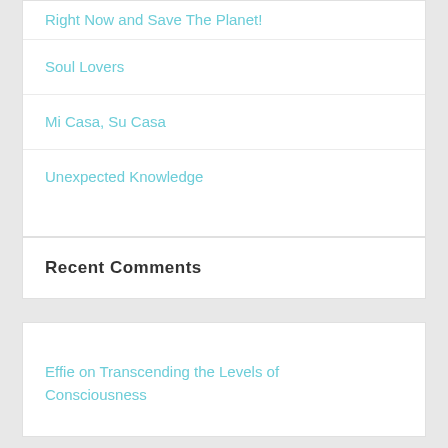Right Now and Save The Planet!
Soul Lovers
Mi Casa, Su Casa
Unexpected Knowledge
Recent Comments
Effie on Transcending the Levels of Consciousness